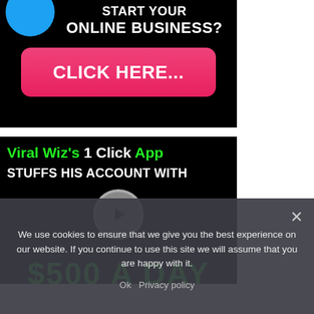[Figure (infographic): Black background ad banner with text 'START YOUR ONLINE BUSINESS?' and a pink/red 'CLICK HERE...' button]
[Figure (infographic): Black background ad with text 'Viral Wiz's 1 Click App STUFFS HIS ACCOUNT WITH' and a play button icon, with large green text '$500 A DAY' partially visible]
We use cookies to ensure that we give you the best experience on our website. If you continue to use this site we will assume that you are happy with it.
Ok   Privacy policy